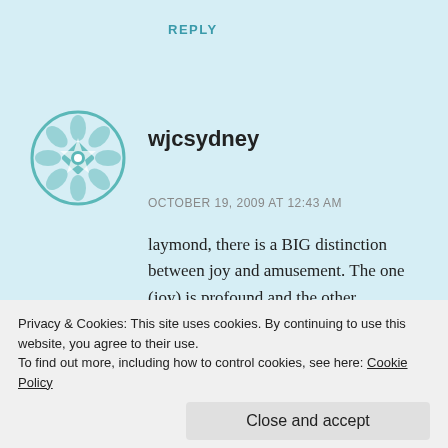REPLY
[Figure (logo): Teal geometric decorative avatar icon with star/flower pattern]
wjcsydney
OCTOBER 19, 2009 AT 12:43 AM
laymond, there is a BIG distinction between joy and amusement. The one (joy) is profound and the other (amusement) is trivial. God wants us to show our overflowing and joyous love. That's joy, NOT entertainment. My congregation is one
Privacy & Cookies: This site uses cookies. By continuing to use this website, you agree to their use.
To find out more, including how to control cookies, see here: Cookie Policy
Close and accept